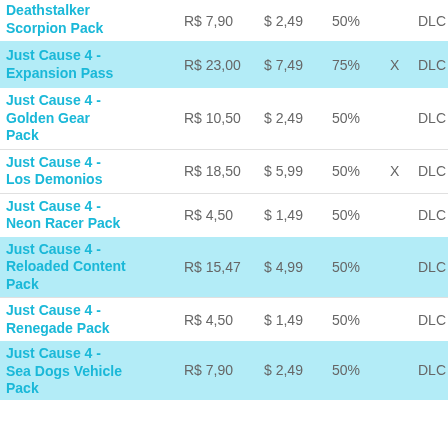| Name | BRL | USD | % | X | Type |
| --- | --- | --- | --- | --- | --- |
| Deathstalker Scorpion Pack | R$ 7,90 | $ 2,49 | 50% |  | DLC |
| Just Cause 4 - Expansion Pass | R$ 23,00 | $ 7,49 | 75% | X | DLC |
| Just Cause 4 - Golden Gear Pack | R$ 10,50 | $ 2,49 | 50% |  | DLC |
| Just Cause 4 - Los Demonios | R$ 18,50 | $ 5,99 | 50% | X | DLC |
| Just Cause 4 - Neon Racer Pack | R$ 4,50 | $ 1,49 | 50% |  | DLC |
| Just Cause 4 - Reloaded Content Pack | R$ 15,47 | $ 4,99 | 50% |  | DLC |
| Just Cause 4 - Renegade Pack | R$ 4,50 | $ 1,49 | 50% |  | DLC |
| Just Cause 4 - Sea Dogs Vehicle Pack | R$ 7,90 | $ 2,49 | 50% |  | DLC |